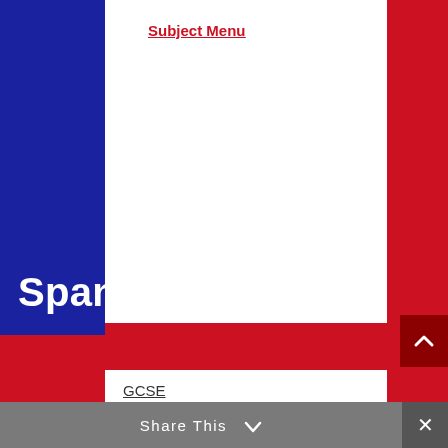Subject Menu
Spanish
GCSE
AQA
Edexcel
OCR
Share This